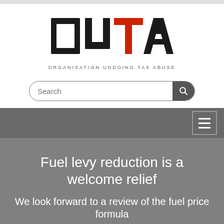[Figure (logo): OUTA logo — Organisation Undoing Tax Abuse. Large bold black letters 'OU' and 'A', red block letter 'T', with tagline 'ORGANISATION UNDOING TAX ABUSE' below in spaced grey capitals.]
Search
Fuel levy reduction is a welcome relief
We look forward to a review of the fuel price formula